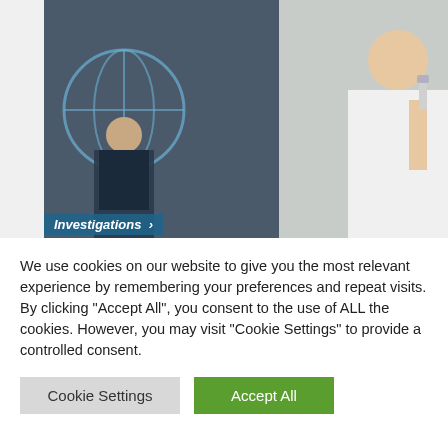[Figure (photo): Two photos side by side: left shows a person in front of a UN globe logo, right shows a person in a white lab coat holding something small]
Too Many Secrets and techniques on Artifical SARS between Chinese language Biolab & Daszak's NGO of NY funded by Gates, NIH
We use cookies on our website to give you the most relevant experience by remembering your preferences and repeat visits. By clicking "Accept All", you consent to the use of ALL the cookies. However, you may visit "Cookie Settings" to provide a controlled consent.
Cookie Settings | Accept All